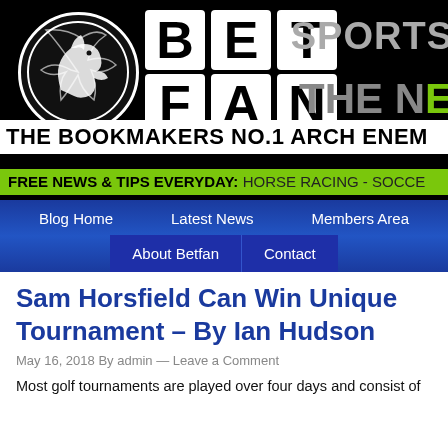[Figure (logo): BetFan logo banner with horse icon, BET FAN letters in white boxes on black background, SPORTS and THE NE text on right, THE BOOKMAKERS NO.1 ARCH ENEMY tagline, FREE NEWS & TIPS EVERYDAY: HORSE RACING - SOCCER green bar]
Blog Home | Latest News | Members Area | About Betfan | Contact
Sam Horsfield Can Win Unique Tournament – By Ian Hudson
May 16, 2018 By admin — Leave a Comment
Most golf tournaments are played over four days and consist of